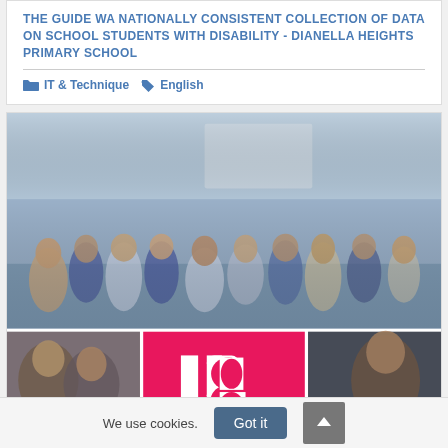THE GUIDE WA NATIONALLY CONSISTENT COLLECTION OF DATA ON SCHOOL STUDENTS WITH DISABILITY - DIANELLA HEIGHTS PRIMARY SCHOOL
IT & Technique   English
[Figure (photo): Top half: classroom photo of school students in uniforms sitting and talking in groups. Bottom half: three-panel composite — left panel shows two students talking, center panel shows pink IB logo on magenta background, right panel shows a student speaking.]
We use cookies.
Got it